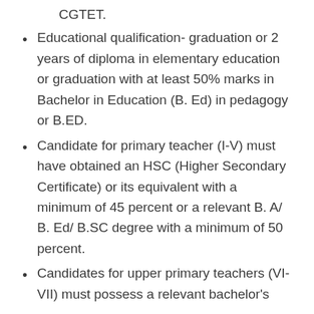CGTET.
Educational qualification- graduation or 2 years of diploma in elementary education or graduation with at least 50% marks in Bachelor in Education (B. Ed) in pedagogy or B.ED.
Candidate for primary teacher (I-V) must have obtained an HSC (Higher Secondary Certificate) or its equivalent with a minimum of 45 percent or a relevant B. A/ B. Ed/ B.SC degree with a minimum of 50 percent.
Candidates for upper primary teachers (VI-VII) must possess a relevant bachelor's